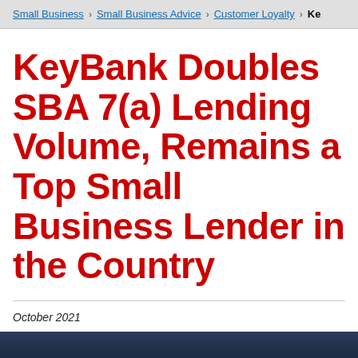Small Business > Small Business Advice > Customer Loyalty > Ke...
KeyBank Doubles SBA 7(a) Lending Volume, Remains a Top Small Business Lender in the Country
October 2021
[Figure (photo): Aerial night view of a city with a highway bridge/overpass in the foreground and city buildings with lights in the background]